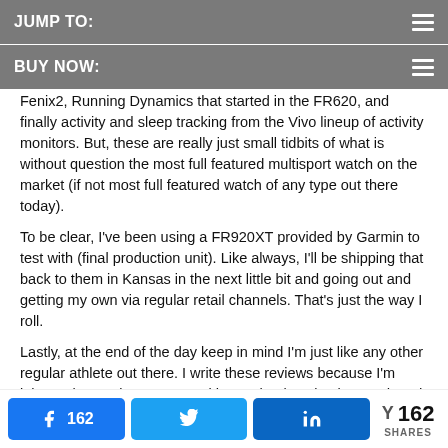JUMP TO:
BUY NOW:
Fenix2, Running Dynamics that started in the FR620, and finally activity and sleep tracking from the Vivo lineup of activity monitors. But, these are really just small tidbits of what is without question the most full featured multisport watch on the market (if not most full featured watch of any type out there today).
To be clear, I've been using a FR920XT provided by Garmin to test with (final production unit).  Like always, I'll be shipping that back to them in Kansas in the next little bit and going out and getting my own via regular retail channels.  That's just the way I roll.
Lastly, at the end of the day keep in mind I'm just like any other regular athlete out there. I write these reviews because I'm inherently a curious person with a technology background, and thus I try and be as complete as I can. But, if I've missed something or if you spot something that doesn't quite jive – just let me know and I'll be happy to get it all sorted out. Also, because the technology world constantly changes, I try and go back and update these reviews as new
162 shares